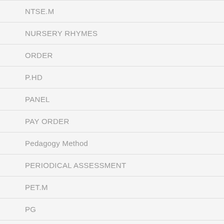NTSE.M
NURSERY RHYMES
ORDER
P.HD
PANEL
PAY ORDER
Pedagogy Method
PERIODICAL ASSESSMENT
PET.M
PG
PGTRB
POLICE EXAM MODEL QP